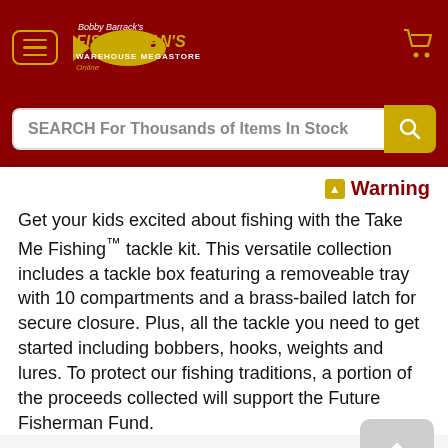Bobby Barrack's Fisherman's Warehouse Megastore Online
SEARCH For Thousands of Items In Stock
⚠ Warning
Get your kids excited about fishing with the Take Me Fishing™ tackle kit. This versatile collection includes a tackle box featuring a removeable tray with 10 compartments and a brass-bailed latch for secure closure. Plus, all the tackle you need to get started including bobbers, hooks, weights and lures. To protect our fishing traditions, a portion of the proceeds collected will support the Future Fisherman Fund.
INCLUDES
One Tackle Box